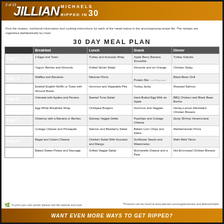2 of 23 — JILLIAN MICHAELS RIPPED IN 30
Find the recipes, nutritional information and cooking instructions for each of the meals below in the accompanying recipe file. The recipes are organized alphabetically by meal.
30 DAY MEAL PLAN
|  | Breakfast | Lunch | Snack | Dinner |
| --- | --- | --- | --- | --- |
| Day 1 | 2 Eggs and Toast | Turkey and Avocado Wrap | Apple Berry Banana Smoothie | Turkey Kabobs |
| Day 2 | Yogurt, Berries and Almonds | Grilled Sirloin Salad | Almonds and an Orange | Chicken Satay |
| Day 3 | Waffles and Bananas | Mexican Pizza | Protein Bar | Black Bean Chili |
| Day 4 | Ezekiel English Muffin or Toast with Almond Butter | Hummus and Vegetable Pita | Turkey Jerky | Roasted Salmon |
| Day 5 | Oatmeal with Apples and Pecans | Seared Tuna Salad | Hard-Boiled Egg With an Apple | BBQ Chicken and Black Bean Burrito |
| Day 6 | Egg White Breakfast Wrap | Chickpea Burgers | Hummus and Veggies | Honey-Lemon Marinated Chicken Breasts |
| Day 7 | Cheerios with a Banana or Berries | Subway Veggie Delite | Popchin ps and Cottage Cheese | Zesty Shrimp Veracruzana |
| Day 8 | Cottage Cheese and Pineapple | Salmon and Blueberry Salad | Baked Corn Chips and Salsa | Mediterranean Pizza |
| Day 9 | Bagel and Cream Cheese | Chicken Salad With Avocado and Mango | Sunflower Seeds and Watermelon | Mahi Mahi Tacos |
| Day 10 | Baked Sweet Potato and Sausage | Grilled Veggie Salad | Mozzarella Cheese and a Pear | Nut-Encrusted Chicken Breasts |
WANT EVEN MORE WAYS TO GET RIPPED?
*Products can be found at www.plainer.com/supplementary and jillianmichaels.